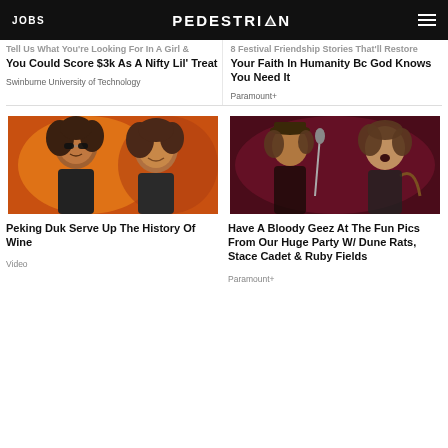JOBS | PEDESTRIAN | (menu)
Tell Us What You're Looking For In A Girl & You Could Score $3k As A Nifty Lil' Treat
Swinburne University of Technology
8 Festival Friendship Stories That'll Restore Your Faith In Humanity Bc God Knows You Need It
Paramount+
[Figure (photo): Two musicians with curly hair standing in front of orange/fire background — Peking Duk]
Peking Duk Serve Up The History Of Wine
Video
[Figure (photo): Band performing on stage with microphone, dark red/maroon background — Dune Rats, Stace Cadet & Ruby Fields party pics]
Have A Bloody Geez At The Fun Pics From Our Huge Party W/ Dune Rats, Stace Cadet & Ruby Fields
Paramount+